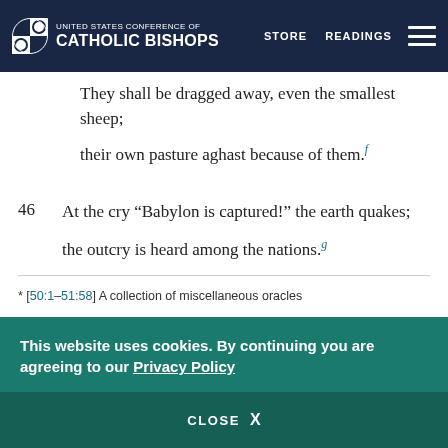UNITED STATES CONFERENCE OF CATHOLIC BISHOPS | STORE | READINGS
They shall be dragged away, even the smallest sheep;
their own pasture aghast because of them.f
46  At the cry “Babylon is captured!” the earth quakes;
the outcry is heard among the nations.g
* [50:1–51:58] A collection of miscellaneous oracles
This website uses cookies. By continuing you are agreeing to our Privacy Policy
CLOSE X